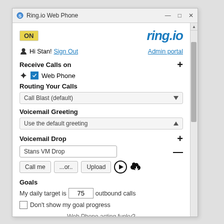[Figure (screenshot): Ring.io Web Phone application window showing settings interface with ON badge, ring.io logo, user greeting with Sign Out and Admin portal links, Receive Calls on section with Web Phone checkbox, Routing Your Calls dropdown (Call Blast default), Voicemail Greeting dropdown (Use the default greeting), Voicemail Drop section with Stans VM Drop input and Call me/Upload buttons, Goals section with daily target of 75 outbound calls, Don't show my goal progress checkbox, and Web Phone acting funky? Try the Magic fixer footer text.]